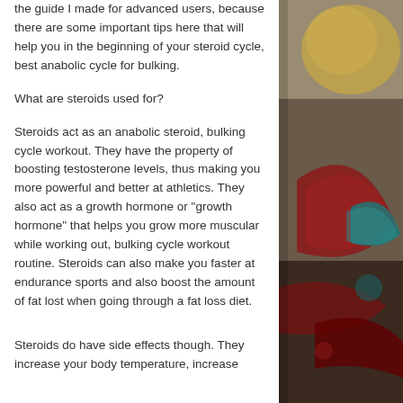the guide I made for advanced users, because there are some important tips here that will help you in the beginning of your steroid cycle, best anabolic cycle for bulking.
What are steroids used for?
Steroids act as an anabolic steroid, bulking cycle workout. They have the property of boosting testosterone levels, thus making you more powerful and better at athletics. They also act as a growth hormone or "growth hormone" that helps you grow more muscular while working out, bulking cycle workout routine. Steroids can also make you faster at endurance sports and also boost the amount of fat lost when going through a fat loss diet.
Steroids do have side effects though. They increase your body temperature, increase
[Figure (photo): Decorative photo with colorful abstract or artistic elements — appears to show dark background with colorful geometric or natural shapes including red, teal, and gold tones.]